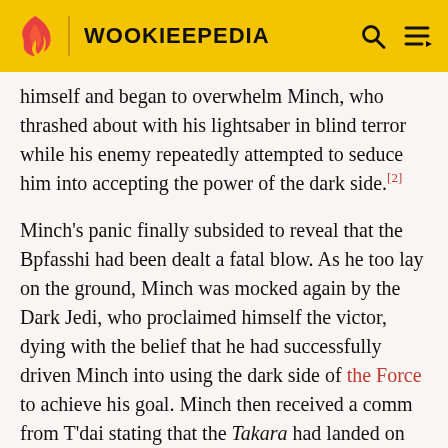WOOKIEEPEDIA
himself and began to overwhelm Minch, who thrashed about with his lightsaber in blind terror while his enemy repeatedly attempted to seduce him into accepting the power of the dark side.[2]
Minch's panic finally subsided to reveal that the Bpfasshi had been dealt a fatal blow. As he too lay on the ground, Minch was mocked again by the Dark Jedi, who proclaimed himself the victor, dying with the belief that he had successfully driven Minch into using the dark side of the Force to achieve his goal. Minch then received a comm from T'dai stating that the Takara had landed on Dagobah and that he needed to prepare for extraction. The Jedi told his Master that he had slain the Bpfasshi and promptly left the cave to rejoin his comrades. The